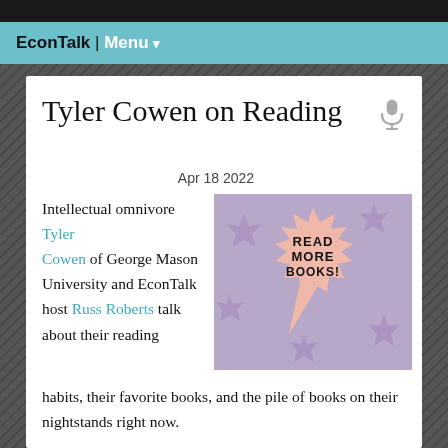EconTalk | Menu ▾
Tyler Cowen on Reading
Apr 18 2022
[Figure (illustration): Comic-style speech bubble with text READ MORE BOOKS! on a purple/lavender background with star shapes]
Intellectual omnivore Tyler Cowen of George Mason University and EconTalk host Russ Roberts talk about their reading habits, their favorite books, and the pile of books on their nightstands right now.